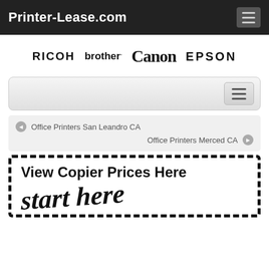Printer-Lease.com
[Figure (logo): Brand logos row: RICOH, brother, Canon, EPSON]
[Figure (screenshot): Navigation/search bar with hamburger menu button]
Office Printers San Leandro CA
Office Printers Merced CA
[Figure (infographic): Dashed border call-to-action box with text 'View Copier Prices Here' and handwritten 'start here']